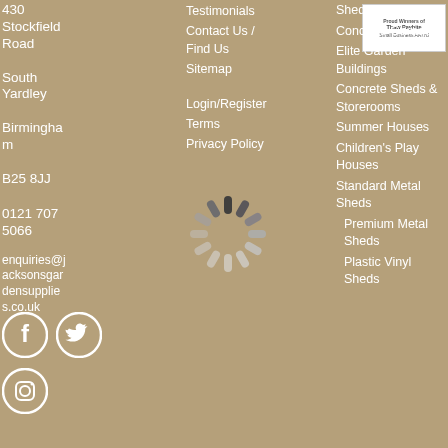430 Stockfield Road
South Yardley
Birmingham
B25 8JJ

0121 707 5066

enquiries@jacksonsgardenssupplies.co.uk
Testimonials
Contact Us / Find Us
Sitemap
Login/Register
Terms
Privacy Policy
Sheds
Concrete Garages
Elite Garden Buildings
Concrete Sheds & Storerooms
Summer Houses
Children's Play Houses
Standard Metal Sheds
Premium Metal Sheds
Plastic Vinyl Sheds
[Figure (other): Loading spinner animation in center of footer]
[Figure (logo): Proud Winners of Thaw Payhite Small Business Award badge - white badge top right]